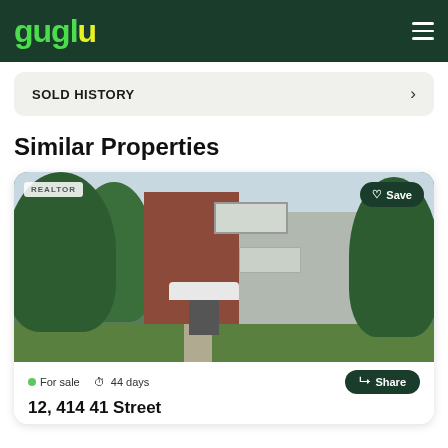guglu
SOLD HISTORY
Similar Properties
[Figure (photo): Exterior photo of a multi-unit apartment building with brick and grey siding, large evergreen trees, balconies, and a covered entrance. A REALTOR sign is visible. Green lawn and pathway in foreground.]
For sale  44 days
12, 414 41 Street